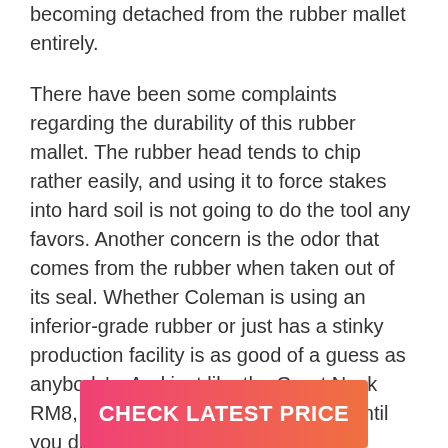becoming detached from the rubber mallet entirely.
There have been some complaints regarding the durability of this rubber mallet. The rubber head tends to chip rather easily, and using it to force stakes into hard soil is not going to do the tool any favors. Another concern is the odor that comes from the rubber when taken out of its seal. Whether Coleman is using an inferior-grade rubber or just has a stinky production facility is as good of a guess as anybody's. And just like the Great Neck RM8, the foul smell won't disappear until you dispose of the tool.
[Figure (other): Pink to orange gradient button with white bold text reading CHECK LATEST PRICE]